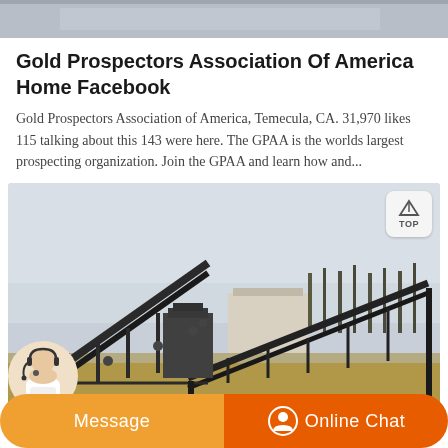[Figure (photo): Partial top image showing gray surface/industrial scene, cropped at top of page]
Gold Prospectors Association Of America Home Facebook
Gold Prospectors Association of America, Temecula, CA. 31,970 likes 115 talking about this 143 were here. The GPAA is the worlds largest prospecting organization. Join the GPAA and learn how and...
[Figure (photo): Industrial mining conveyor belt equipment and structures photographed outdoors under overcast sky]
Message
Online Chat